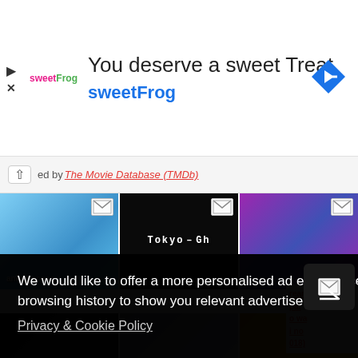[Figure (screenshot): SweetFrog advertisement banner with logo, tagline 'You deserve a sweet Treat', and a blue navigation arrow icon]
ed by The Movie Database (TMDb)
[Figure (screenshot): Three anime thumbnail images showing My Hero Academia characters, Tokyo Ghoul title card, and a purple/blue anime scene with envelope overlay icons]
We would like to offer a more personalised ad experience on this site by allowing use of your personal data such as browsing history to show you relevant advertisements.
Privacy & Cookie Policy
No thanks
I AGREE
[Figure (screenshot): Partial right sidebar showing red text titles and a scroll-up button]
[Figure (screenshot): Bottom strip of three anime thumbnail images]